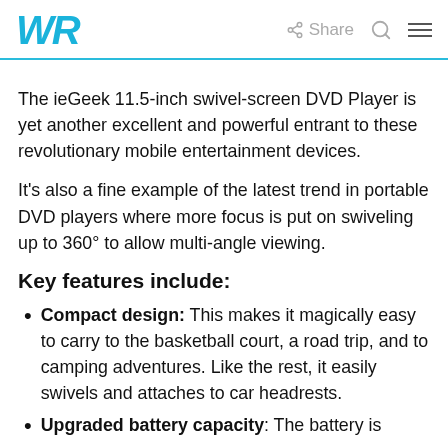WR | Share
The ieGeek 11.5-inch swivel-screen DVD Player is yet another excellent and powerful entrant to these revolutionary mobile entertainment devices.
It's also a fine example of the latest trend in portable DVD players where more focus is put on swiveling up to 360° to allow multi-angle viewing.
Key features include:
Compact design: This makes it magically easy to carry to the basketball court, a road trip, and to camping adventures. Like the rest, it easily swivels and attaches to car headrests.
Upgraded battery capacity: The battery is